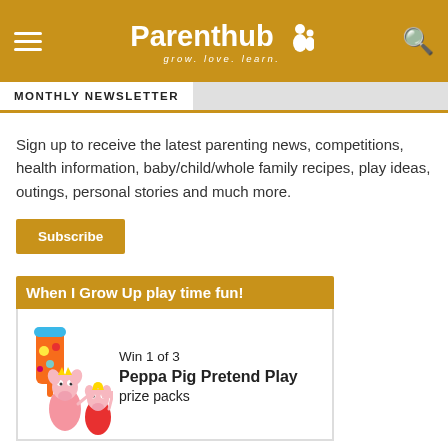Parenthub — grow. love. learn.
MONTHLY NEWSLETTER
Sign up to receive the latest parenting news, competitions, health information, baby/child/whole family recipes, play ideas, outings, personal stories and much more.
Subscribe
[Figure (illustration): Competition card with orange header reading 'When I Grow Up play time fun!' and Peppa Pig Pretend Play toy images below alongside text 'Win 1 of 3 Peppa Pig Pretend Play prize packs']
Win 1 of 3 Peppa Pig Pretend Play prize packs